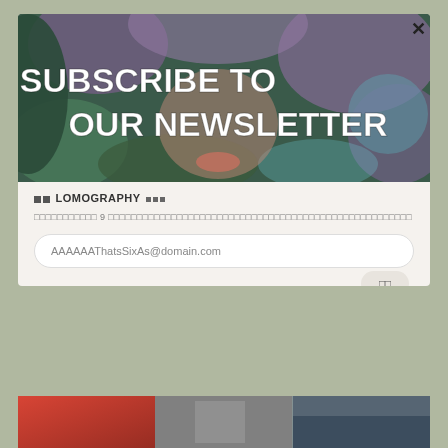[Figure (photo): Hero banner image of a face surrounded by lilac/purple flowers with bold white text 'SUBSCRIBE TO OUR NEWSLETTER' overlaid]
□□ LOMOGRAPHY □□□
□□□□□□□□□□□ 9 □□□□□□□□□□□□□□□□□□□□□□□□□□□□□□□□□□□□□□□□□□□□□□□□□□□
AAAAAAThatsSixAs@domain.com
[Figure (photo): Three thumbnail photos at the bottom of the page showing red, grey, and dark scenes]